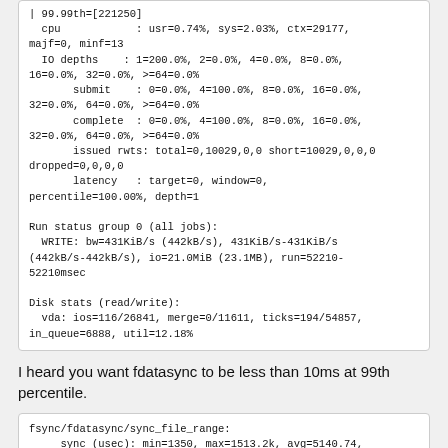| 99.99th=[221250]
  cpu            : usr=0.74%, sys=2.03%, ctx=29177, majf=0, minf=13
  IO depths    : 1=200.0%, 2=0.0%, 4=0.0%, 8=0.0%, 16=0.0%, 32=0.0%, >=64=0.0%
       submit    : 0=0.0%, 4=100.0%, 8=0.0%, 16=0.0%, 32=0.0%, 64=0.0%, >=64=0.0%
       complete  : 0=0.0%, 4=100.0%, 8=0.0%, 16=0.0%, 32=0.0%, 64=0.0%, >=64=0.0%
       issued rwts: total=0,10029,0,0 short=10029,0,0,0 dropped=0,0,0,0
       latency   : target=0, window=0, percentile=100.00%, depth=1

Run status group 0 (all jobs):
  WRITE: bw=431KiB/s (442kB/s), 431KiB/s-431KiB/s (442kB/s-442kB/s), io=21.0MiB (23.1MB), run=52210-52210msec

Disk stats (read/write):
  vda: ios=116/26841, merge=0/11611, ticks=194/54857, in_queue=6888, util=12.18%
I heard you want fdatasync to be less than 10ms at 99th percentile.
fsync/fdatasync/sync_file_range:
     sync (usec): min=1350, max=1513.2k, avg=5140.74, stdev=15969.15